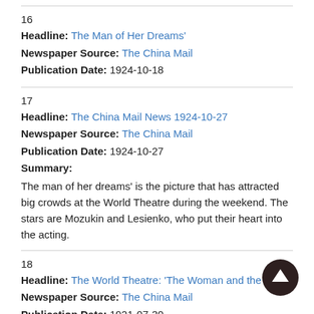16
Headline: The Man of Her Dreams'
Newspaper Source: The China Mail
Publication Date: 1924-10-18
17
Headline: The China Mail News 1924-10-27
Newspaper Source: The China Mail
Publication Date: 1924-10-27
Summary:
The man of her dreams' is the picture that has attracted big crowds at the World Theatre during the weekend. The stars are Mozukin and Lesienko, who put their heart into the acting.
18
Headline: The World Theatre: 'The Woman and the Law'
Newspaper Source: The China Mail
Publication Date: 1921-07-30
Summary:
Claimed to be one of the finest pictures ever screened in Hongkong.